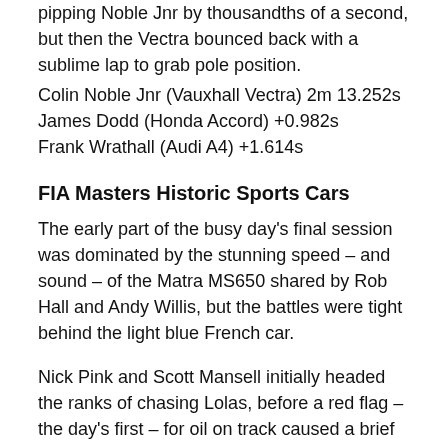pipping Noble Jnr by thousandths of a second, but then the Vectra bounced back with a sublime lap to grab pole position.
Colin Noble Jnr (Vauxhall Vectra) 2m 13.252s
James Dodd (Honda Accord) +0.982s
Frank Wrathall (Audi A4) +1.614s
FIA Masters Historic Sports Cars
The early part of the busy day's final session was dominated by the stunning speed – and sound – of the Matra MS650 shared by Rob Hall and Andy Willis, but the battles were tight behind the light blue French car.
Nick Pink and Scott Mansell initially headed the ranks of chasing Lolas, before a red flag – the day's first – for oil on track caused a brief delay. Once battle recommenced the Paul Gibson / Chris Ward Lola T70 Mk3B moved up to